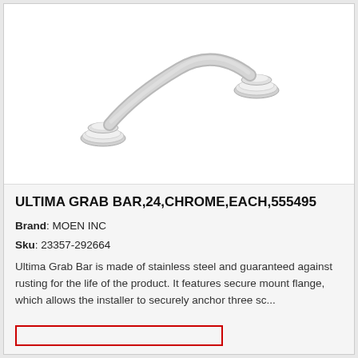[Figure (photo): Chrome grab bar (Ultima Grab Bar, 24 inch, chrome finish) shown diagonally on white background, with decorative flanges on each end.]
ULTIMA GRAB BAR,24,CHROME,EACH,555495
Brand: MOEN INC
Sku: 23357-292664
Ultima Grab Bar is made of stainless steel and guaranteed against rusting for the life of the product. It features secure mount flange, which allows the installer to securely anchor three sc...